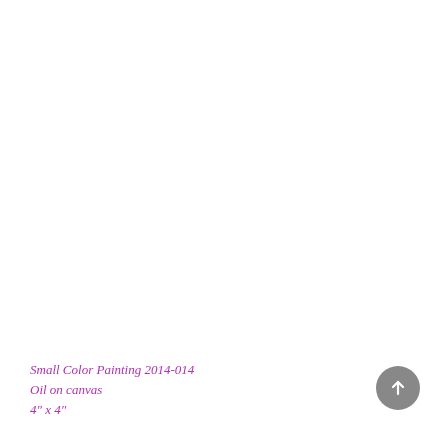Small Color Painting 2014-014
Oil on canvas
4" x 4"